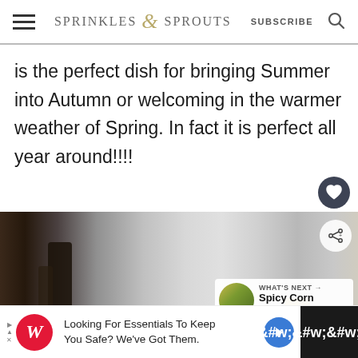Sprinkles & Sprouts | SUBSCRIBE
is the perfect dish for bringing Summer into Autumn or welcoming in the warmer weather of Spring. In fact it is perfect all year around!!!!
[Figure (photo): Blurred photo of food/drinks items on a dark wooden table, with white background blur]
WHAT'S NEXT → Spicy Corn Pasta
[Figure (screenshot): Advertisement bar: Walgreens - Looking For Essentials To Keep You Safe? We've Got Them.]